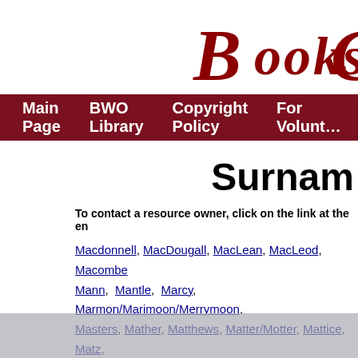[Figure (logo): Books We Own website logo — decorative red gothic letter B followed by 'ooks' in serif, partially cropped]
Main Page | BWO Library | Copyright Policy | For Volunteers
Surnames
To contact a resource owner, click on the link at the end of the entry.
Macdonnell, MacDougall, MacLean, MacLeod, Macomber, Mann, Mantle, Marcy, Marmon/Marimoon/Merrymoon, Masters, Mather, Matthews, Matter/Motter, Mattice, Matz, McClintock, McCollough, McCowan, McCuiston, McDill, McFall, McGavock, McGregor, McIlnay, McInturf, McPherson, McQueston, McQuillan, McQuiston, Mead, Meserve, Meurling, Meyer, Michener, Middleton/Myddleton, Mize, Moberly, Molyneux/Molineus, Montague, Montgomery, Moulton, Moxley, Mull, Mulliken, Mulock, Murfet, Musick, M